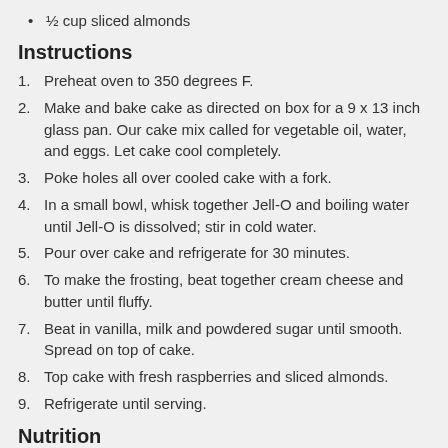½ cup sliced almonds
Instructions
Preheat oven to 350 degrees F.
Make and bake cake as directed on box for a 9 x 13 inch glass pan. Our cake mix called for vegetable oil, water, and eggs. Let cake cool completely.
Poke holes all over cooled cake with a fork.
In a small bowl, whisk together Jell-O and boiling water until Jell-O is dissolved; stir in cold water.
Pour over cake and refrigerate for 30 minutes.
To make the frosting, beat together cream cheese and butter until fluffy.
Beat in vanilla, milk and powdered sugar until smooth. Spread on top of cake.
Top cake with fresh raspberries and sliced almonds.
Refrigerate until serving.
Nutrition